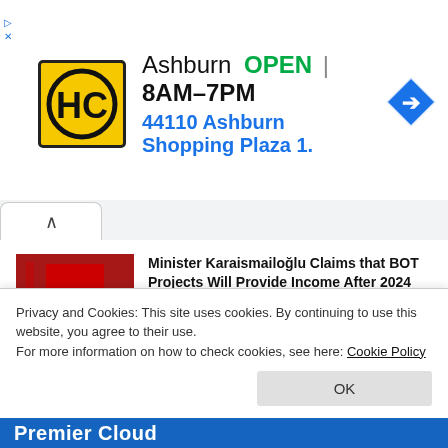[Figure (infographic): Advertisement banner for HC store in Ashburn. Yellow/black HC logo on left, text shows 'Ashburn OPEN 8AM-7PM' and address '44110 Ashburn Shopping Plaza 1.' with blue navigation arrow icon on right.]
[Figure (screenshot): Browser tab bar with collapsed chevron tab on left side]
Minister Karaismailoğlu Claims that BOT Projects Will Provide Income After 2024
18/08/2022
Transportation to Teknofest is Planned Down to the Finest Detail in Samsun
18/08/2022
Privacy and Cookies: This site uses cookies. By continuing to use this website, you agree to their use.
For more information on how to check cookies, see here: Cookie Policy
Premier Cloud